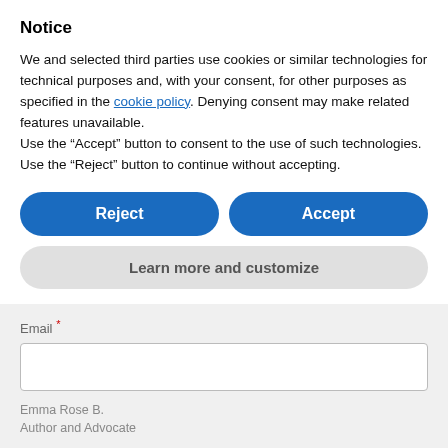Notice
We and selected third parties use cookies or similar technologies for technical purposes and, with your consent, for other purposes as specified in the cookie policy. Denying consent may make related features unavailable.
Use the “Accept” button to consent to the use of such technologies. Use the “Reject” button to continue without accepting.
Reject
Accept
Learn more and customize
Email *
Emma Rose B.
Author and Advocate